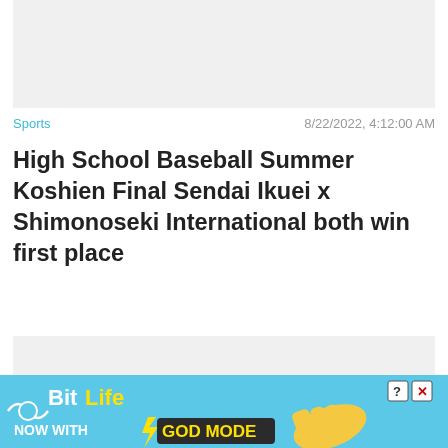[Figure (photo): Top image placeholder (gray background, no visible image)]
Sports    8/22/2022, 4:12:00 AM
High School Baseball Summer Koshien Final Sendai Ikuei x Shimonoseki International both win first place
[Figure (photo): Middle image placeholder (gray background, no visible image)]
Sports    8/22/2022, 8:18...    Close X
[Figure (screenshot): BitLife ad banner: NOW WITH GOD MODE, sky blue background with cartoon hand pointing finger, help and close icons]